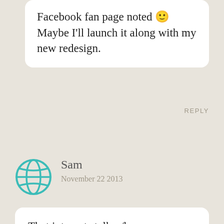Facebook fan page noted 🙂 Maybe I'll launch it along with my new redesign.
REPLY
Sam
November 22 2013
That internet stalker/harasser experience sounds just awful. Glad s/he gave up in the end after being ignored. I completely agree with the Facebook point; I have only ever used it for people I've met in person and know enough to know that I like them. I feel no guilt in rejecting requests from people I don't know in person or have met and didn't care for.